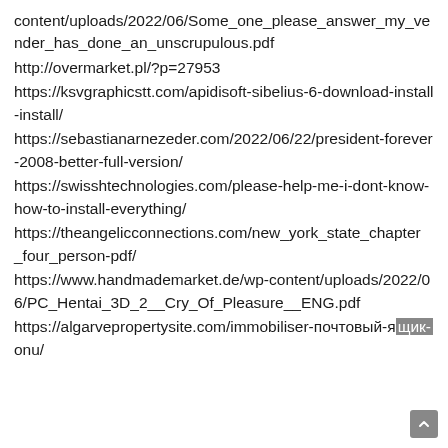content/uploads/2022/06/Some_one_please_answer_my_vender_has_done_an_unscrupulous.pdf
http://overmarket.pl/?p=27953
https://ksvgraphicstt.com/apidisoft-sibelius-6-download-install-install/
https://sebastianarnezeder.com/2022/06/22/president-forever-2008-better-full-version/
https://swisshtechnologies.com/please-help-me-i-dont-know-how-to-install-everything/
https://theangelicconnections.com/new_york_state_chapter_four_person-pdf/
https://www.handmademarket.de/wp-content/uploads/2022/06/PC_Hentai_3D_2__Cry_Of_Pleasure__ENG.pdf
https://algarvepropertysite.com/immobiliser-почтовый-ящик-onu/